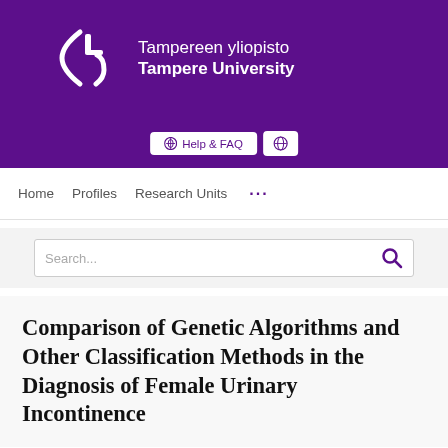[Figure (logo): Tampereen yliopisto / Tampere University logo on purple background with stylized bracket symbol]
Help & FAQ  [globe icon]
Home   Profiles   Research Units   ...
Search...
Comparison of Genetic Algorithms and Other Classification Methods in the Diagnosis of Female Urinary Incontinence